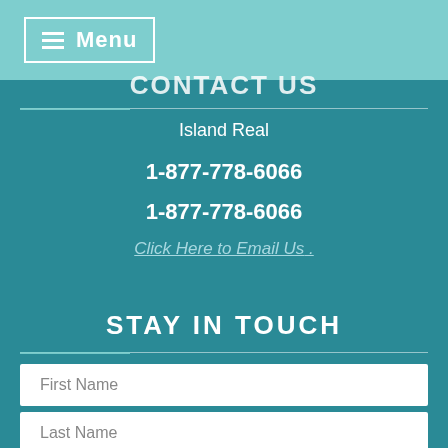Menu
CONTACT US
Island Real
1-877-778-6066
1-877-778-6066
Click Here to Email Us
STAY IN TOUCH
First Name
Last Name